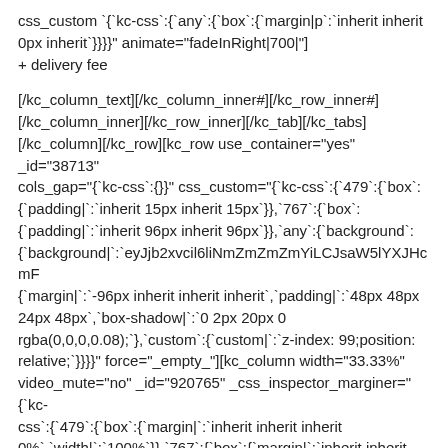css_custom `{`kc-css`:{`any`:{`box`:{`margin|p`:`inherit inherit 0px inherit`}}}}" animate="fadeInRight|700|"
+ delivery fee
[/kc_column_text][/kc_column_inner#][/kc_row_inner#][/kc_column_inner][/kc_row_inner][/kc_tab][/kc_tabs][/kc_column][/kc_row][kc_row use_container="yes" _id="38713" cols_gap="{`kc-css`:{}}" css_custom="{`kc-css`:{`479`:{`box`:{`padding|`:`inherit 15px inherit 15px`}},`767`:{`box`:{`padding|`:`inherit 96px inherit 96px`}},`any`:{`background`:{`background|`:`eyJjb2xvcil6liNmZmZmZmYiLCJsaW5lYXJHcmF`:{`margin|`:`-96px inherit inherit inherit`,`padding|`:`48px 48px 24px 48px`,`box-shadow|`:`0 2px 20px 0 rgba(0,0,0,0.08);`},`custom`:{`custom|`:`z-index: 99;position: relative;`}}}}" force="_empty_"][kc_column width="33.33%" video_mute="no" _id="920765" _css_inspector_marginer="{`kc-css`:{`479`:{`box`:{`margin|`:`inherit inherit inherit 0%`,`width|`:`100%`}},`767`:{`box`:{`margin|`:`inherit inherit inherit 0%`,`width|`:`100%`}}}}" video_bg_url="_empty_"